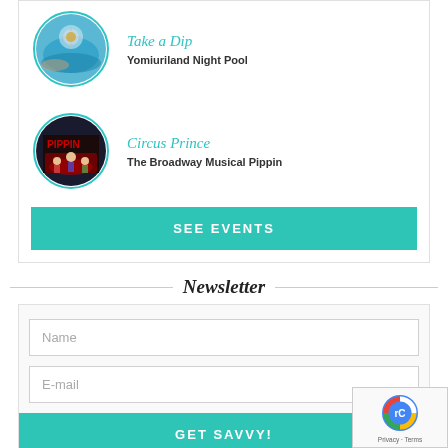[Figure (photo): Circular photo of a pool/water scene with a disco ball, bordered with teal circle]
Take a Dip
Yomiuriland Night Pool
[Figure (photo): Circular photo of Broadway Musical Pippin cast on stage, bordered with teal circle]
Circus Prince
The Broadway Musical Pippin
SEE EVENTS
Newsletter
Name
E-mail
GET SAVVY!